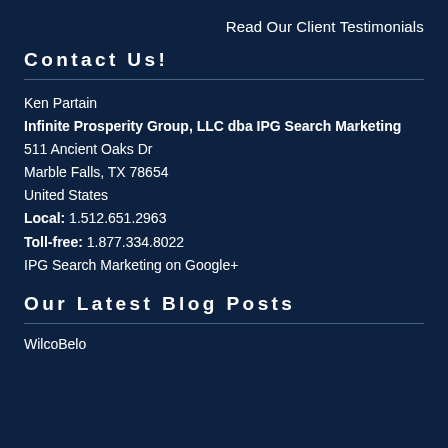Read Our Client Testimonials
Contact Us!
Ken Partain
Infinite Prosperity Group, LLC dba IPG Search Marketing
511 Ancient Oaks Dr
Marble Falls, TX 78654
United States
Local: 1.512.651.2963
Toll-free: 1.877.334.8022
IPG Search Marketing on Google+
Our Latest Blog Posts
WilcoBelo